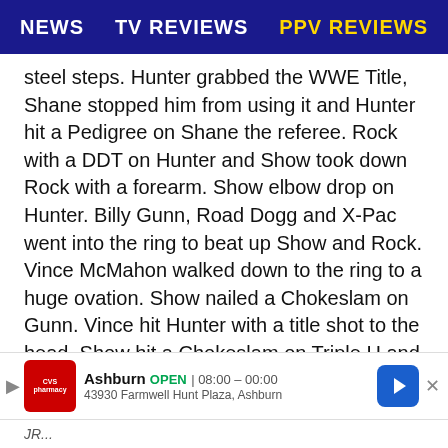NEWS   TV REVIEWS   PPV REVIEWS
steel steps. Hunter grabbed the WWE Title, Shane stopped him from using it and Hunter hit a Pedigree on Shane the referee. Rock with a DDT on Hunter and Show took down Rock with a forearm. Show elbow drop on Hunter. Billy Gunn, Road Dogg and X-Pac went into the ring to beat up Show and Rock. Vince McMahon walked down to the ring to a huge ovation. Show nailed a Chokeslam on Gunn. Vince hit Hunter with a title shot to the head. Show hit a Chokeslam on Triple H and Vince counted the pin, which meant Big Show won the WWE World Title at the 16:13 mark.
Winner by pinfall and New WWE World
Champ